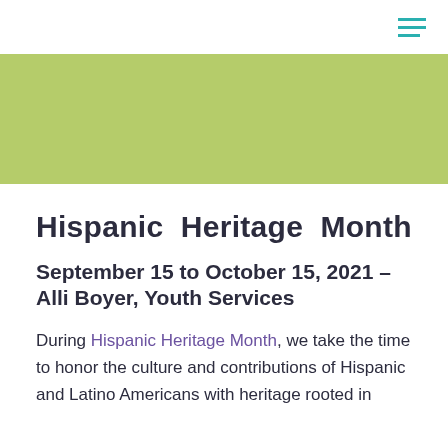[Figure (other): Hamburger menu icon with three teal horizontal lines in top-right corner]
[Figure (other): Olive/yellow-green hero banner background block]
Hispanic Heritage Month
September 15 to October 15, 2021 – Alli Boyer, Youth Services
During Hispanic Heritage Month, we take the time to honor the culture and contributions of Hispanic and Latino Americans with heritage rooted in